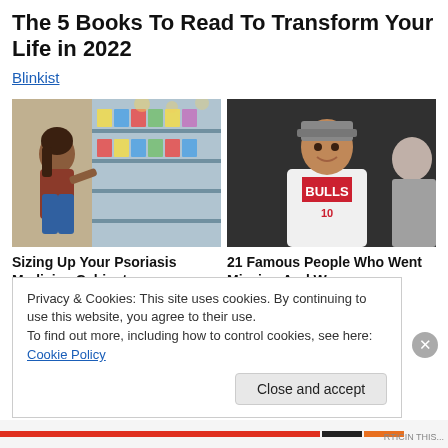The 5 Books To Read To Transform Your Life in 2022
Blinkist
[Figure (photo): Woman crouching in a grocery store aisle looking at a product on the shelf]
[Figure (photo): Man wearing a Chicago Bulls basketball jersey, smiling, looking upward]
Sizing Up Your Psoriasis Medicine Cabinet
21 Famous People Who Went Missing And Were
Privacy & Cookies: This site uses cookies. By continuing to use this website, you agree to their use.
To find out more, including how to control cookies, see here: Cookie Policy
Close and accept